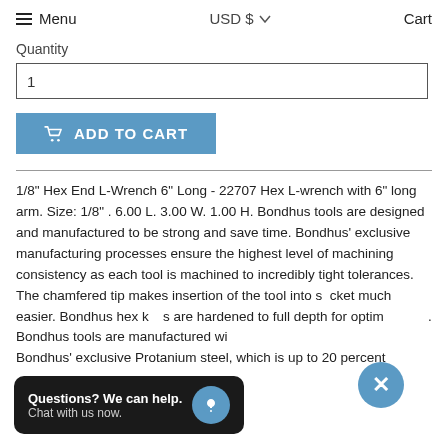Menu   USD $  ∨   Cart
Quantity
1
ADD TO CART
1/8" Hex End L-Wrench 6" Long - 22707 Hex L-wrench with 6" long arm. Size: 1/8" . 6.00 L. 3.00 W. 1.00 H. Bondhus tools are designed and manufactured to be strong and save time. Bondhus' exclusive manufacturing processes ensure the highest level of machining consistency as each tool is machined to incredibly tight tolerances. The chamfered tip makes insertion of the tool into a socket much easier. Bondhus hex keys are hardened to full depth for optimum use. Bondhus tools are manufactured with Bondhus' exclusive Protanium steel, which is up to 20 percent
Questions? We can help. Chat with us now.